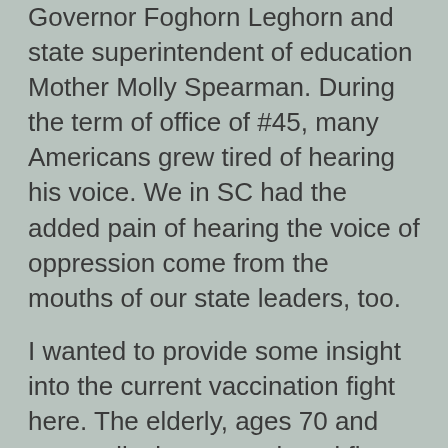Governor Foghorn Leghorn and state superintendent of education Mother Molly Spearman. During the term of office of #45, many Americans grew tired of hearing his voice. We in SC had the added pain of hearing the voice of oppression come from the mouths of our state leaders, too.
I wanted to provide some insight into the current vaccination fight here. The elderly, ages 70 and up, medical personnel, and first responders were all included in our level 1A plan. Education professionals are in category 1B. The other week, our Guvnah started this version of his anti-public education scheme: let's pit the “elderly” vs. teachers. Foghorn moved people ages 65-69 from category 1C, over those in 1B, up to 1A! He did this, while at the same time, ramping up his demands that teachers go “back to work” for five days of face to face instruction. First, I don't know anybody in education that hasn't been working, we never stopped